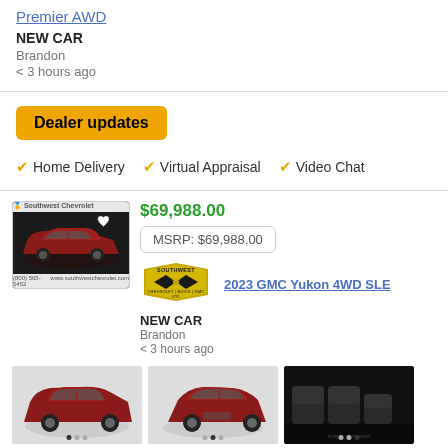Premier AWD
NEW CAR
Brandon
< 3 hours ago
Dealer updates
Home Delivery
Virtual Appraisal
Video Chat
$69,988.00
MSRP: $69,988.00
[Figure (photo): Red SUV car photo thumbnail from Southwest Chevrolet dealer]
[Figure (logo): Southwest Chevrolet Buick GMC Ltd. dealer logo (gold bowtie emblem)]
2023 GMC Yukon 4WD SLE
NEW CAR
Brandon
< 3 hours ago
[Figure (photo): Red GMC Yukon SUV exterior side view thumbnail]
[Figure (photo): Red GMC Yukon SUV exterior front-side view thumbnail]
[Figure (photo): GMC Yukon interior seating dark photo thumbnail]